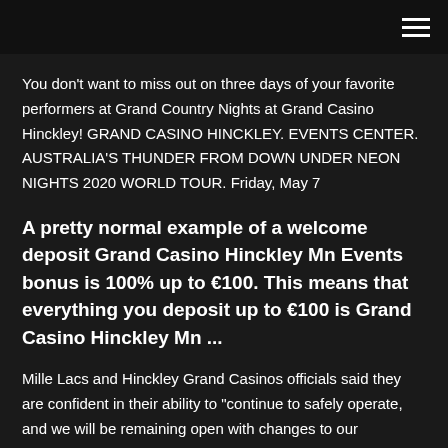You don't want to miss out on three days of your favorite performers at Grand Country Nights at Grand Casino Hinckley! GRAND CASINO HINCKLEY. EVENTS CENTER. AUSTRALIA'S THUNDER FROM DOWN UNDER NEON NIGHTS 2020 WORLD TOUR. Friday, May 7
A pretty normal example of a welcome deposit Grand Casino Hinckley Mn Events bonus is 100% up to €100. This means that everything you deposit up to €100 is Grand Casino Hinckley Mn ...
Mille Lacs and Hinckley Grand Casinos officials said they are confident in their ability to "continue to safely operate, and we will be remaining open with changes to our